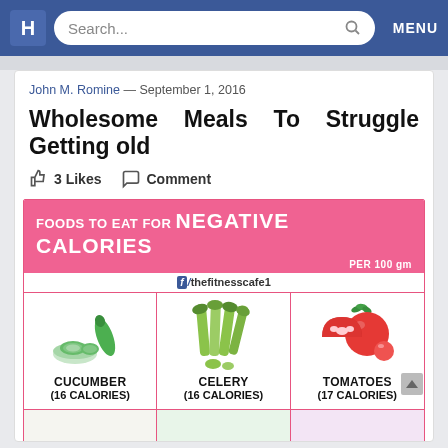H  Search...  MENU
John M. Romine — September 1, 2016
Wholesome Meals To Struggle Getting old
3 Likes   Comment
[Figure (infographic): Infographic: Foods to eat for negative calories per 100 gm. Shows cucumber (16 calories), celery (16 calories), tomatoes (17 calories), and partially visible bottom row foods. Banner: FOODS TO EAT FOR NEGATIVE CALORIES PER 100 gm. Source: f/thefitnesscafe1]